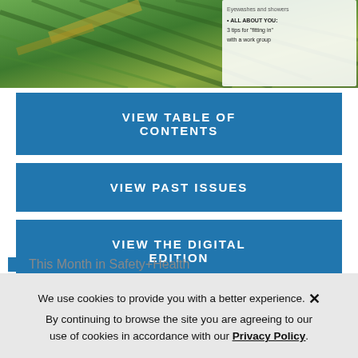[Figure (photo): Aerial photo of green terraced rice fields with shadows, and a small white box overlay with text about eyewashes and showers and a tip about fitting in with a work group]
VIEW TABLE OF CONTENTS
VIEW PAST ISSUES
VIEW THE DIGITAL EDITION
This Month in Safety+Health
The 2022 NSC Safety Congress & Expo
We use cookies to provide you with a better experience. × By continuing to browse the site you are agreeing to our use of cookies in accordance with our Privacy Policy.